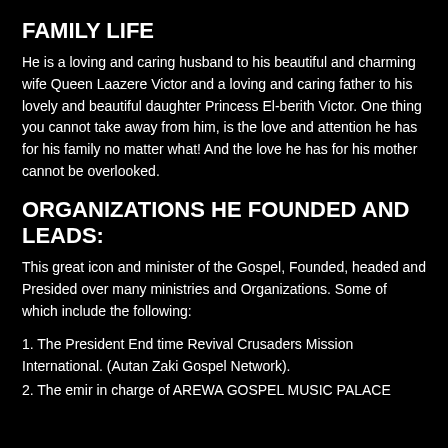FAMILY LIFE
He is a loving and caring husband to his beautiful and charming wife Queen Laazere Victor and a loving and caring father to his lovely and beautiful daughter Princess El-berith Victor. One thing you cannot take away from him, is the love and attention he has for his family no matter what! And the love he has for his mother cannot be overlooked.
ORGANIZATIONS HE FOUNDED AND LEADS:
This great icon and minister of the Gospel, Founded, headed and Presided over many ministries and Organizations. Some of which include the following:
1. The President End time Revival Crusaders Mission International. (Autan Zaki Gospel Network).
2. The emir in charge of AREWA GOSPEL MUSIC PALACE